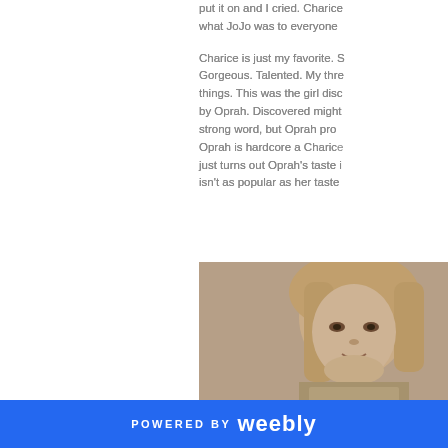put it on and I cried. Charice what JoJo was to everyone
Charice is just my favorite. S Gorgeous. Talented. My thre things. This was the girl disc by Oprah. Discovered might strong word, but Oprah pro Oprah is hardcore a Charic just turns out Oprah's taste isn't as popular as her taste
[Figure (photo): Sepia-toned close-up portrait of a young woman with straight light hair, looking directly at camera, wearing a sparkly outfit]
POWERED BY weebly